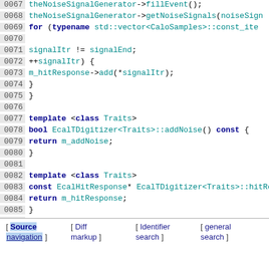[Figure (screenshot): Code listing showing C++ source code lines 0067-0092 with syntax highlighting. Line numbers on left in grey, keywords in dark blue bold, identifiers in teal/cyan.]
[ Source navigation ] [ Diff markup ] [ Identifier search ] [ general search ]